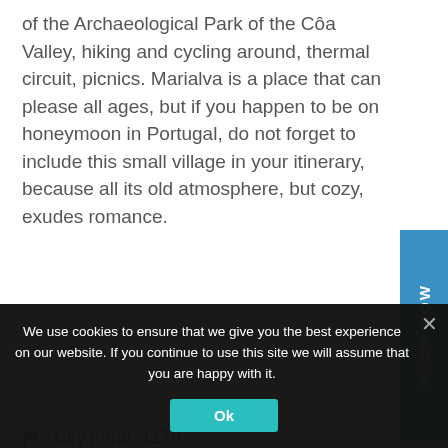of the Archaeological Park of the Côa Valley, hiking and cycling around, thermal circuit, picnics. Marialva is a place that can please all ages, but if you happen to be on honeymoon in Portugal, do not forget to include this small village in your itinerary, because all its old atmosphere, but cozy, exudes romance.
City Foral: 1179
Population: 200 inhabitants
We use cookies to ensure that we give you the best experience on our website. If you continue to use this site we will assume that you are happy with it.